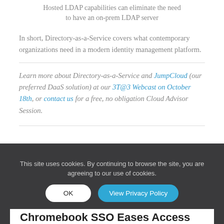Hosted LDAP capabilities can eliminate the need to have an on-prem LDAP server
In short, Directory-as-a-Service covers what contemporary organizations need in a modern identity management platform.
Learn more about Directory-as-a-Service and JumpCloud (our preferred DaaS solution) at our 3T@3 Webcast on October 18th, or contact us for a free, no obligation Cloud Advisor Session.
This site uses cookies. By continuing to browse the site, you are agreeing to our use of cookies.
Chromebook SSO Eases Access